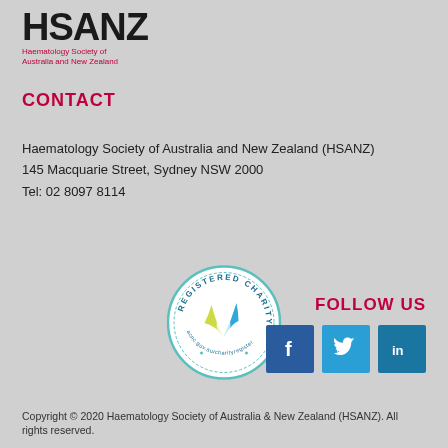[Figure (logo): HSANZ logo - Haematology Society of Australia and New Zealand bold text with subtitle in red]
CONTACT
Haematology Society of Australia and New Zealand (HSANZ)
145 Macquarie Street, Sydney NSW 2000
Tel: 02 8097 8114
[Figure (logo): Registered Charity badge - acnc.gov.au/charityregister circular seal with teal and yellow ribbon logo]
FOLLOW US
[Figure (infographic): Social media icons: Facebook (dark blue), Twitter (light blue), LinkedIn (medium blue) square icons]
Copyright © 2020 Haematology Society of Australia & New Zealand (HSANZ). All rights reserved.